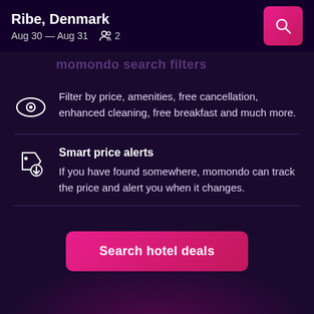Ribe, Denmark · Aug 30 — Aug 31 · 2 guests
Filter by price, amenities, free cancellation, enhanced cleaning, free breakfast and much more.
Smart price alerts
If you have found somewhere, momondo can track the price and alert you when it changes.
Search hotel deals